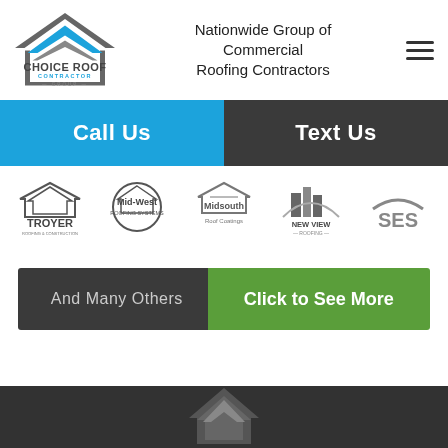[Figure (logo): Choice Roof Contractor Group logo — house roofline with blue chevron, gray text CHOICE ROOF CONTRACTOR GROUP]
Nationwide Group of Commercial Roofing Contractors
[Figure (other): Hamburger menu icon (three horizontal lines)]
Call Us
Text Us
[Figure (logo): Company logos strip: Troyer Roofing & Construction, Mid-West Roofing Systems, Midsouth Roof Coatings, New View Roofing, SES]
And Many Others
Click to See More